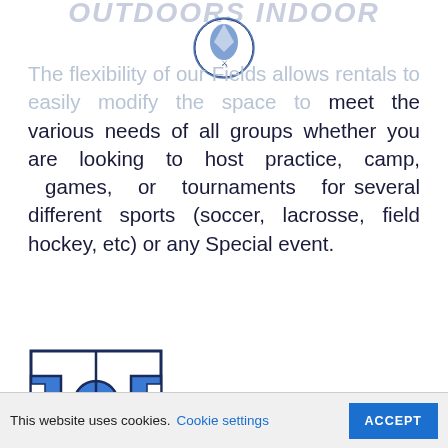OUTDOORS INDOOR
[Figure (logo): Sports organization logo - knight/warrior mascot with shield, blue and white colors]
The flexibility of our Fields allows rentals to easily modify the space to meet the various needs of all groups whether you are looking to host practice, camp, games, or tournaments for several different sports (soccer, lacrosse, field hockey, etc) or any Special event.
[Figure (illustration): Soccer/sports field diagram icon - top-down view of a rectangular field with goal areas and center circle, in blue and white]
PROFESSIONAL TURF FIELD
State of the Art Professional Outdoor
This website uses cookies.
Cookie settings
ACCEPT